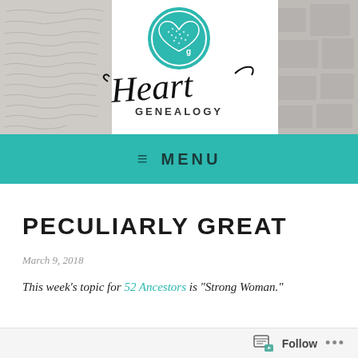[Figure (logo): Heart Genealogy logo — teal circle with heart icon above, cursive 'Heart' script text with 'GENEALOGY' below in sans-serif]
≡ MENU
PECULIARLY GREAT
March 9, 2018
This week's topic for 52 Ancestors is "Strong Woman."
Follow